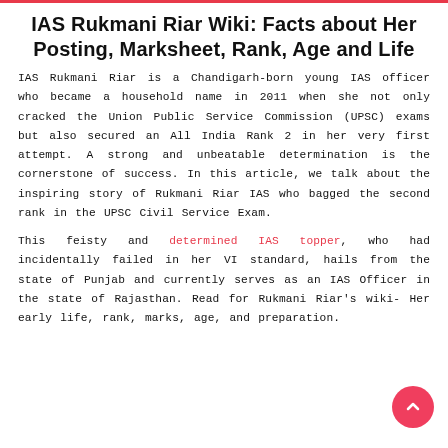IAS Rukmani Riar Wiki: Facts about Her Posting, Marksheet, Rank, Age and Life
IAS Rukmani Riar is a Chandigarh-born young IAS officer who became a household name in 2011 when she not only cracked the Union Public Service Commission (UPSC) exams but also secured an All India Rank 2 in her very first attempt. A strong and unbeatable determination is the cornerstone of success. In this article, we talk about the inspiring story of Rukmani Riar IAS who bagged the second rank in the UPSC Civil Service Exam.
This feisty and determined IAS topper, who had incidentally failed in her VI standard, hails from the state of Punjab and currently serves as an IAS Officer in the state of Rajasthan. Read for Rukmani Riar's wiki- Her early life, rank, marks, age, and preparation.